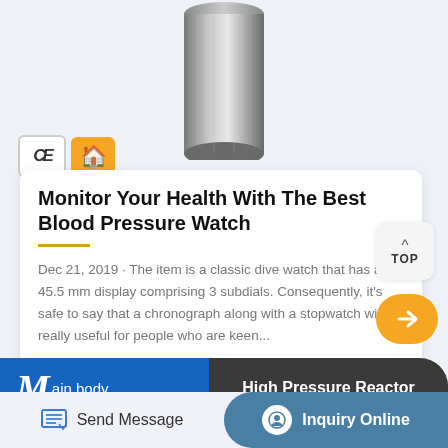[Figure (photo): Stainless steel cylindrical component (high pressure reactor body) photographed against a light blue-grey background, with CE certification badge and Alibaba gold supplier badge visible in the lower left.]
Monitor Your Health With The Best Blood Pressure Watch
Dec 21, 2019 · The item is a classic dive watch that has a 45.5 mm display comprising 3 subdials. Consequently, it's safe to say that a chronograph along with a stopwatch will be really useful for people who are keen...
Main body
High Pressure Reactor
Send Message
Inquiry Online